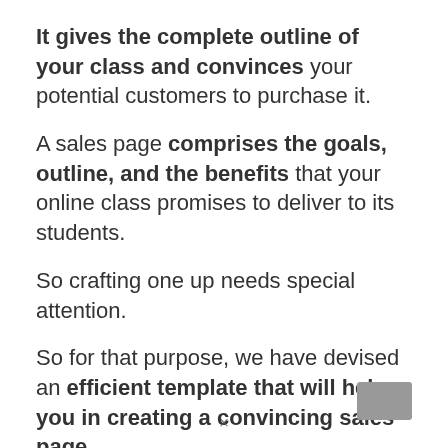It gives the complete outline of your class and convinces your potential customers to purchase it.
A sales page comprises the goals, outline, and the benefits that your online class promises to deliver to its students.
So crafting one up needs special attention.
So for that purpose, we have devised an efficient template that will help you in creating a convincing sales page.